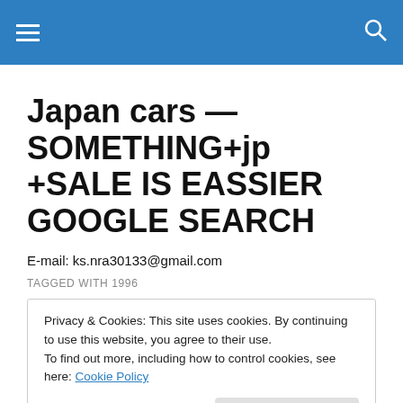Navigation menu and search icon
Japan cars — SOMETHING+jp +SALE IS EASSIER GOOGLE SEARCH
E-mail: ks.nra30133@gmail.com
TAGGED WITH 1996
Privacy & Cookies: This site uses cookies. By continuing to use this website, you agree to their use.
To find out more, including how to control cookies, see here: Cookie Policy
loaded.